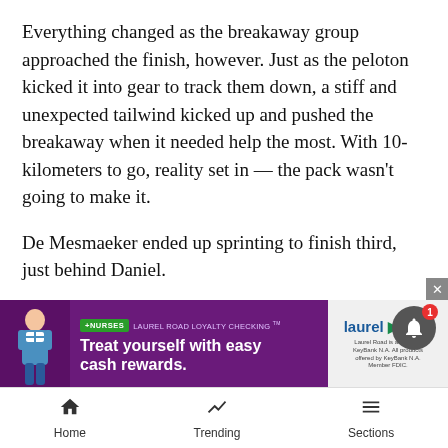Everything changed as the breakaway group approached the finish, however. Just as the peloton kicked it into gear to track them down, a stiff and unexpected tailwind kicked up and pushed the breakaway when it needed help the most. With 10-kilometers to go, reality set in — the pack wasn't going to make it.
De Mesmaeker ended up sprinting to finish third, just behind Daniel.
He's a man who focuses on one dream at a time, and after he became a pro, his goal was to finish high in a stage at a big race. It happened that day, and he doesn't dwell on whether or not he could have won.
“Histo
[Figure (screenshot): Advertisement banner for Laurel Road Loyalty Checking with nurses theme. Green badge reading +NURSES, text: LAUREL ROAD LOYALTY CHECKING TM, headline: Treat yourself with easy cash rewards. Laurel Road logo on right side. Nurse figure illustration on left.]
Home   Trending   Sections